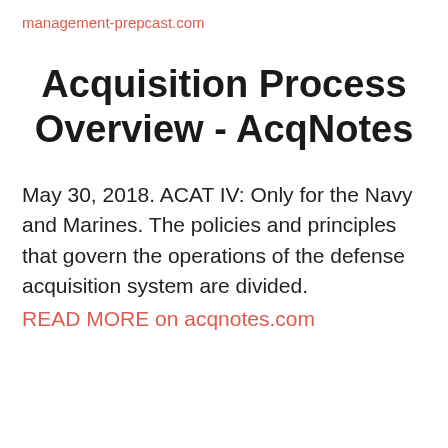management-prepcast.com
Acquisition Process Overview - AcqNotes
May 30, 2018. ACAT IV: Only for the Navy and Marines. The policies and principles that govern the operations of the defense acquisition system are divided.
READ MORE on acqnotes.com